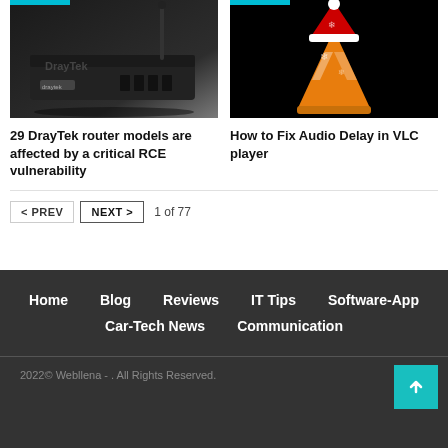[Figure (photo): DrayTek router device, dark background]
[Figure (photo): VLC media player cone mascot with Christmas hat, black background]
29 DrayTek router models are affected by a critical RCE vulnerability
How to Fix Audio Delay in VLC player
< PREV   NEXT >   1 of 77
Home   Blog   Reviews   IT Tips   Software-App   Car-Tech News   Communication
2022© Webllena - . All Rights Reserved.